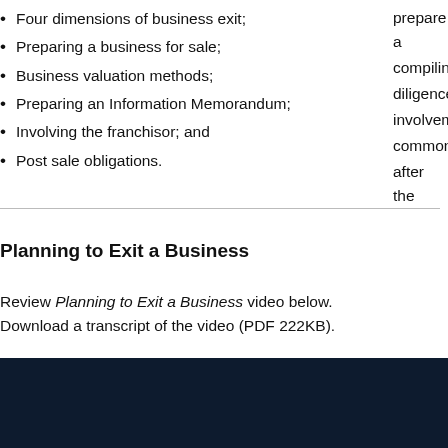Four dimensions of business exit;
Preparing a business for sale;
Business valuation methods;
Preparing an Information Memorandum;
Involving the franchisor; and
Post sale obligations.
prepare a compiling diligence involvem common after the
Planning to Exit a Business
Review Planning to Exit a Business video below. Download a transcript of the video (PDF 222KB).
[Figure (screenshot): Dark navy video player embed area with a Google reCAPTCHA badge overlay in the bottom right corner showing the reCAPTCHA logo and 'Privacy - Terms' text.]